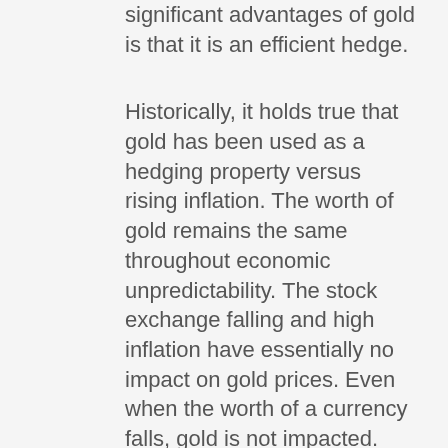significant advantages of gold is that it is an efficient hedge.
Historically, it holds true that gold has been used as a hedging property versus rising inflation. The worth of gold remains the same throughout economic unpredictability. The stock exchange falling and high inflation have essentially no impact on gold prices. Even when the worth of a currency falls, gold is not impacted.
In some countries, gold has cultural value. In China, for example, gold bars are the common kind of conserving, so the gold market